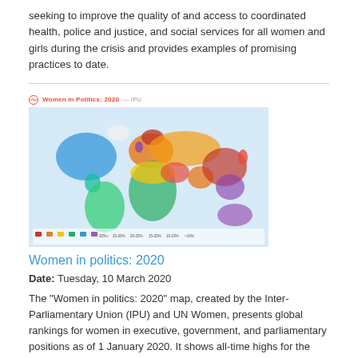seeking to improve the quality of and access to coordinated health, police and justice, and social services for all women and girls during the crisis and provides examples of promising practices to date.
[Figure (map): Women in Politics: 2020 world map showing global rankings for women in executive, government, and parliamentary positions, created by IPU and UN Women.]
Women in politics: 2020
Date: Tuesday, 10 March 2020
The "Women in politics: 2020" map, created by the Inter-Parliamentary Union (IPU) and UN Women, presents global rankings for women in executive, government, and parliamentary positions as of 1 January 2020. It shows all-time highs for the number of countries with women Heads of State and/or Heads of Government, and for the global share of women ministers, parliamentary speakers, and parliamentarians.